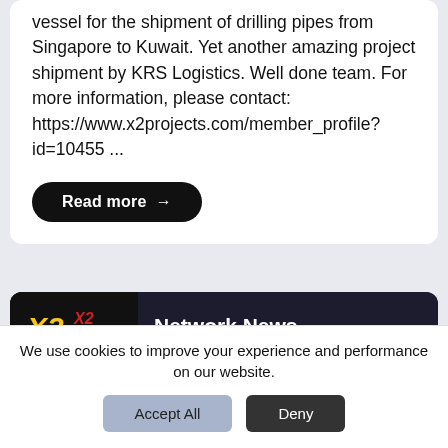vessel for the shipment of drilling pipes from Singapore to Kuwait. Yet another amazing project shipment by KRS Logistics. Well done team. For more information, please contact: https://www.x2projects.com/member_profile?id=10455 ...
Read more →
[Figure (screenshot): Network News card with X2 Elite logo and PFC company logo alongside a ship/port cargo image]
We use cookies to improve your experience and performance on our website.